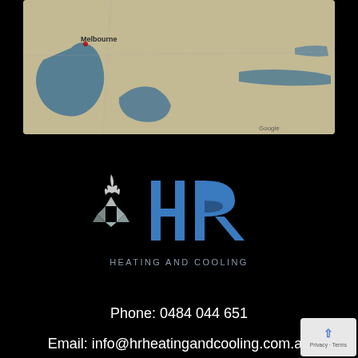[Figure (map): Google Maps screenshot showing Melbourne and surrounding Victoria region, with water bodies highlighted in blue and land in tan/green tones.]
[Figure (logo): HR Heating and Cooling logo: stylized snowflake/diamond icon with flame on top in silver/grey, with large blue block letters 'HR' and 'HEATING AND COOLING' text below in grey.]
Phone: 0484 044 651
Email: info@hrheatingandcooling.com.au